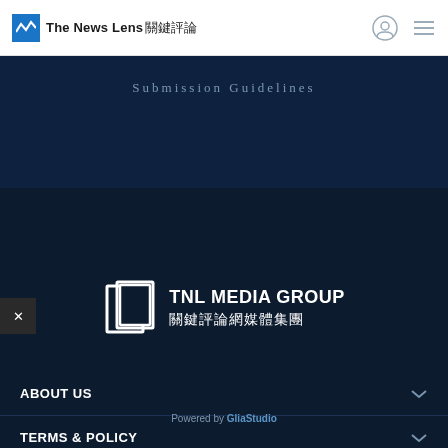The News Lens 關鍵評論
Submission Guidelines
[Figure (logo): TNL MEDIA GROUP 關鍵評論網媒體集團 white logo on dark navy background]
ABOUT US
TERMS & POLICY
ADVERTISE WITH US